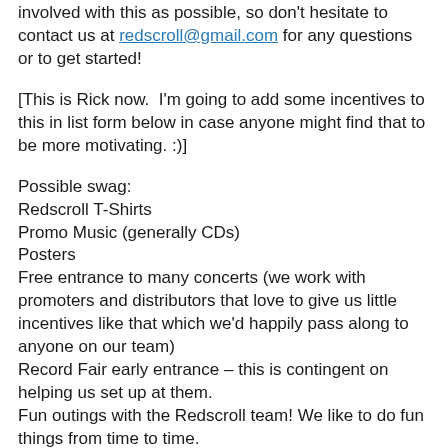involved with this as possible, so don't hesitate to contact us at redscroll@gmail.com for any questions or to get started!
[This is Rick now.  I'm going to add some incentives to this in list form below in case anyone might find that to be more motivating. :)]
Possible swag:
Redscroll T-Shirts
Promo Music (generally CDs)
Posters
Free entrance to many concerts (we work with promoters and distributors that love to give us little incentives like that which we'd happily pass along to anyone on our team)
Record Fair early entrance – this is contingent on helping us set up at them.
Fun outings with the Redscroll team! We like to do fun things from time to time.